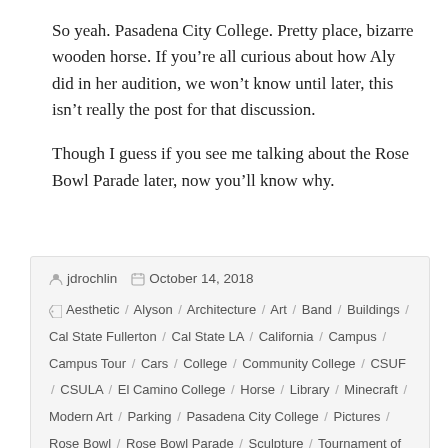So yeah. Pasadena City College. Pretty place, bizarre wooden horse. If you're all curious about how Aly did in her audition, we won't know until later, this isn't really the post for that discussion.
Though I guess if you see me talking about the Rose Bowl Parade later, now you'll know why.
jdrochlin  October 14, 2018  Aesthetic / Alyson / Architecture / Art / Band / Buildings / Cal State Fullerton / Cal State LA / California / Campus / Campus Tour / Cars / College / Community College / CSUF / CSULA / El Camino College / Horse / Library / Minecraft / Modern Art / Parking / Pasadena City College / Pictures / Rose Bowl / Rose Bowl Parade / Sculpture / Tournament of Roses / UCLA / University / Video Games